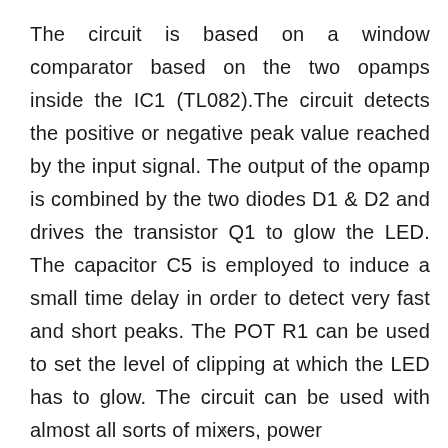The circuit is based on a window comparator based on the two opamps inside the IC1 (TL082).The circuit detects the positive or negative peak value reached by the input signal. The output of the opamp is combined by the two diodes D1 & D2 and drives the transistor Q1 to glow the LED. The capacitor C5 is employed to induce a small time delay in order to detect very fast and short peaks. The POT R1 can be used to set the level of clipping at which the LED has to glow. The circuit can be used with almost all sorts of mixers, power
x